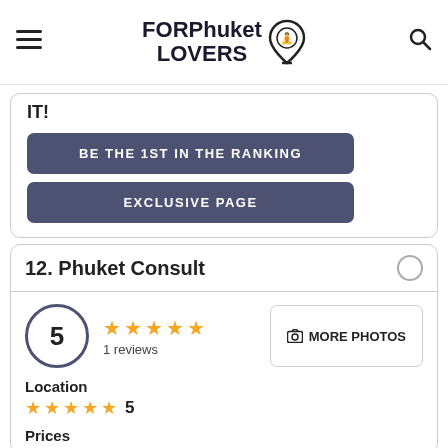FOR Phuket LOVERS
IT!
BE THE 1ST IN THE RANKING
EXCLUSIVE PAGE
12. Phuket Consult
5 ★★★★★ 1 reviews
MORE PHOTOS
Location
★★★★★ 5
Prices